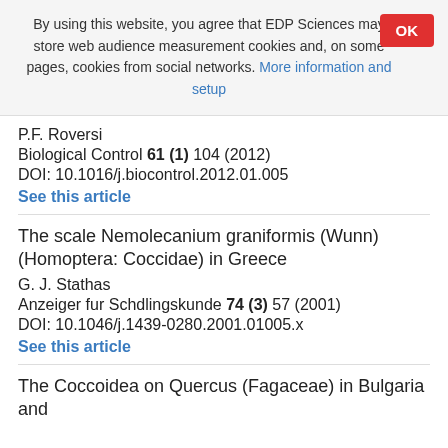By using this website, you agree that EDP Sciences may store web audience measurement cookies and, on some pages, cookies from social networks. More information and setup
P.F. Roversi
Biological Control 61 (1) 104 (2012)
DOI: 10.1016/j.biocontrol.2012.01.005
See this article
The scale Nemolecanium graniformis (Wunn) (Homoptera: Coccidae) in Greece
G. J. Stathas
Anzeiger fur Schdlingskunde 74 (3) 57 (2001)
DOI: 10.1046/j.1439-0280.2001.01005.x
See this article
The Coccoidea on Quercus (Fagaceae) in Bulgaria and